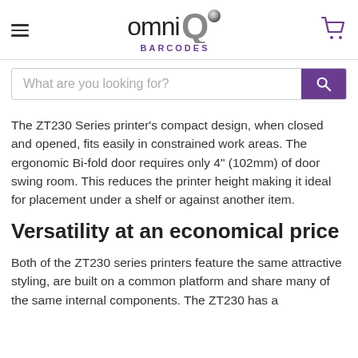[Figure (logo): OmniQ Barcodes logo with hamburger menu icon on left and shopping cart icon on right]
[Figure (screenshot): Search input bar with placeholder text 'What are you looking for?' and a purple search button with magnifying glass icon]
The ZT230 Series printer’s compact design, when closed and opened, fits easily in constrained work areas. The ergonomic Bi-fold door requires only 4" (102mm) of door swing room. This reduces the printer height making it ideal for placement under a shelf or against another item.
Versatility at an economical price
Both of the ZT230 series printers feature the same attractive styling, are built on a common platform and share many of the same internal components. The ZT230 has a